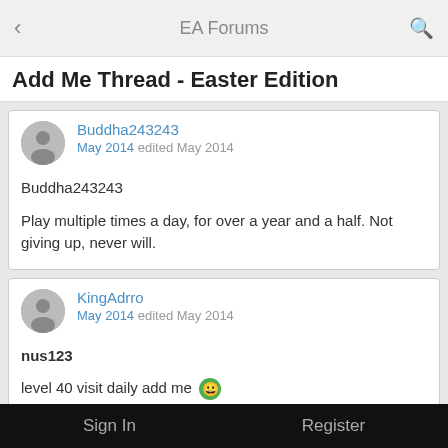EA Forums
Add Me Thread - Easter Edition
Buddha243243
May 2014 edited May 2014

Buddha243243

Play multiple times a day, for over a year and a half. Not giving up, never will.
KingAdrro
May 2014 edited May 2014

nus123

level 40 visit daily add me
Sign In    Register